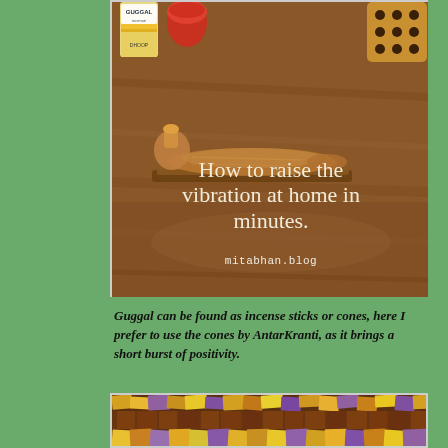[Figure (photo): Photo showing a bronze reclining deity statue with Guggal incense product in the background, overlaid with text 'How to raise the vibration at home in minutes.' and 'mitabhan.blog' on a warm brown background]
Guggal can be found as incense sticks or cones, here I prefer to use the cones by AntarKranti, as it brings a short burst of positivity.
[Figure (photo): Close-up photo of colorful woven incense cones or similar items in shades of yellow, orange, purple, and dark brown arranged in a tight pattern]